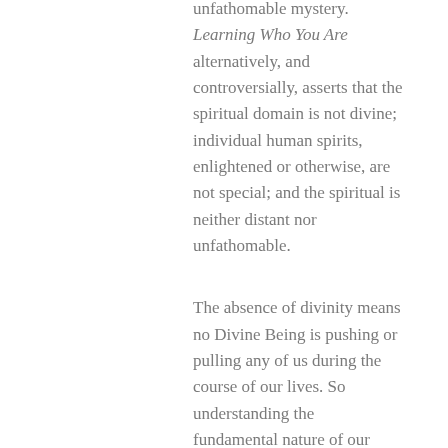unfathomable mystery. Learning Who You Are alternatively, and controversially, asserts that the spiritual domain is not divine; individual human spirits, enlightened or otherwise, are not special; and the spiritual is neither distant nor unfathomable.
The absence of divinity means no Divine Being is pushing or pulling any of us during the course of our lives. So understanding the fundamental nature of our existence doesn't depend on